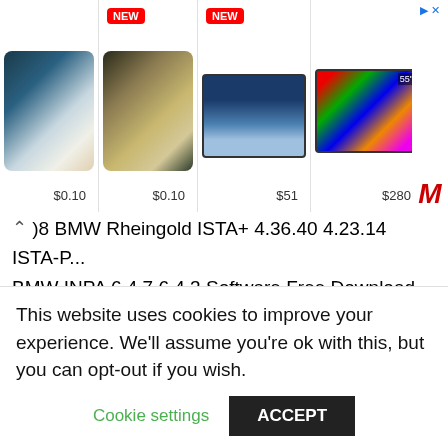[Figure (screenshot): Advertisement banner showing iPhones with prices $0.10, $0.10, a TV at $51, and a TV at $280, with NEW badges and an M logo]
98 BMW Rheingold ISTA+ 4.36.40 4.23.14 ISTA-P...
BMW INPA 6.4.7 6.4.3 Software Free Download
VCDS 20.4.0 19.6.0 Full+9.2 Loader Free Download...
Newest OPCOM VAUX-COM V1.99 V1.95 All Version Free Download
Newest CH341A USB Programmer Software Free Download
ECM Titanium 1.61 With 26000+ Driver Free Download
Volvo VIDA DICE 2014D Software Free Download
2022.08 BMW ISTA+ 4.36.40 & ISTA-P 3.70 with...
VAG EEPROM Programmer 1.19g Free Download
GlobalTIS & TIS2000 Software Free Download...
This website uses cookies to improve your experience. We'll assume you're ok with this, but you can opt-out if you wish.
Cookie settings   ACCEPT